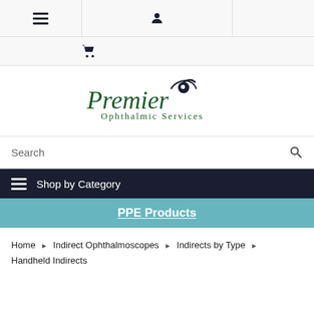[Figure (screenshot): Website navigation header with hamburger menu icon and user/person icon]
[Figure (logo): Premier Ophthalmic Services logo with eye icon above the text]
Search
Shop by Category
PPE Products
Home › Indirect Ophthalmoscopes › Indirects by Type › Handheld Indirects